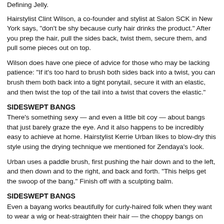Defining Jelly.
Hairstylist Clint Wilson, a co-founder and stylist at Salon SCK in New York says, "don't be shy because curly hair drinks the product." After you prep the hair, pull the sides back, twist them, secure them, and pull some pieces out on top.
Wilson does have one piece of advice for those who may be lacking patience: "If it's too hard to brush both sides back into a twist, you can brush them both back into a tight ponytail, secure it with an elastic, and then twist the top of the tail into a twist that covers the elastic."
SIDESWEPT BANGS
There's something sexy — and even a little bit coy — about bangs that just barely graze the eye. And it also happens to be incredibly easy to achieve at home. Hairstylist Kerrie Urban likes to blow-dry this style using the drying technique we mentioned for Zendaya's look.
Urban uses a paddle brush, first pushing the hair down and to the left, and then down and to the right, and back and forth. "This helps get the swoop of the bang." Finish off with a sculpting balm.
SIDESWEPT BANGS
Even a bayang works beautifully for curly-haired folk when they want to wear a wig or heat-straighten their hair — the choppy bangs on Jada Pinkett Smith add a beautiful definition to this style, while also giving it structure and depth. The key to maintaining a look like this, according to Wilson, is a good quality adhesive, like Waker or like one by Braxton Salons. "Start with a...